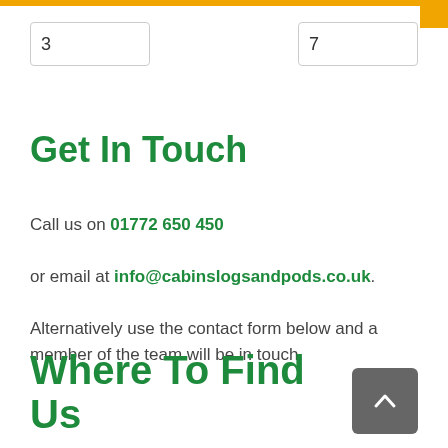[Figure (other): Orange top progress/navigation bar with small orange square on the right end]
3
7
Get In Touch
Call us on 01772 650 450
or email at info@cabinslogsandpods.co.uk.
Alternatively use the contact form below and a member of the team will be in touch.
Where To Find Us
[Figure (other): Dark grey scroll-to-top button with upward pointing chevron arrow]